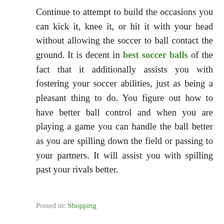Continue to attempt to build the occasions you can kick it, knee it, or hit it with your head without allowing the soccer to ball contact the ground. It is decent in best soccer balls of the fact that it additionally assists you with fostering your soccer abilities, just as being a pleasant thing to do. You figure out how to have better ball control and when you are playing a game you can handle the ball better as you are spilling down the field or passing to your partners. It will assist you with spilling past your rivals better.
Posted in: Shopping